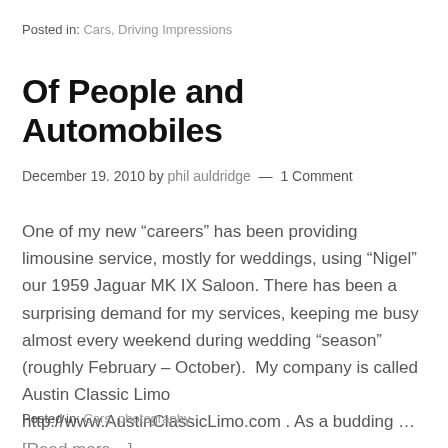Posted in: Cars, Driving Impressions
Of People and Automobiles
December 19. 2010 by phil auldridge — 1 Comment
One of my new “careers” has been providing limousine service, mostly for weddings, using “Nigel” our 1959 Jaguar MK IX Saloon. There has been a surprising demand for my services, keeping me busy almost every weekend during wedding “season” (roughly February – October).  My company is called Austin Classic Limo http://www.AustinClassicLimo.com . As a budding ... [Read more...]
Posted in: Cars, photography